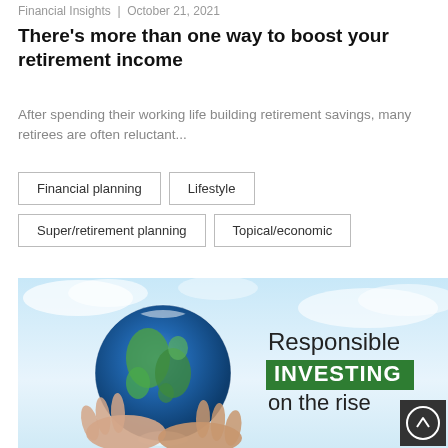Financial Insights  |  October 21, 2021
There's more than one way to boost your retirement income
After spending their working life building retirement savings, many retirees are often reluctant...
Financial planning
Lifestyle
Super/retirement planning
Topical/economic
[Figure (photo): Hands holding a globe against a blue sky background with text overlay: 'Responsible INVESTING on the rise']